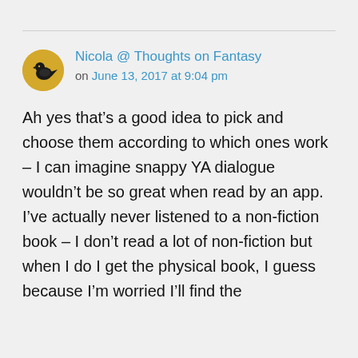[Figure (illustration): A circular avatar image with a golden/yellow background featuring a black silhouette of a bird (crow/raven)]
Nicola @ Thoughts on Fantasy on June 13, 2017 at 9:04 pm
Ah yes that’s a good idea to pick and choose them according to which ones work – I can imagine snappy YA dialogue wouldn’t be so great when read by an app. I’ve actually never listened to a non-fiction book – I don’t read a lot of non-fiction but when I do I get the physical book, I guess because I’m worried I’ll find the